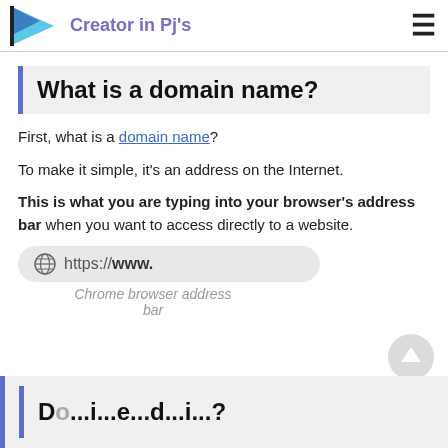Creator in Pj's
What is a domain name?
First, what is a domain name?
To make it simple, it's an address on the Internet.
This is what you are typing into your browser's address bar when you want to access directly to a website.
[Figure (screenshot): Chrome browser address bar showing https://www.]
Chrome browser address bar
Do...i...e...d...i...?